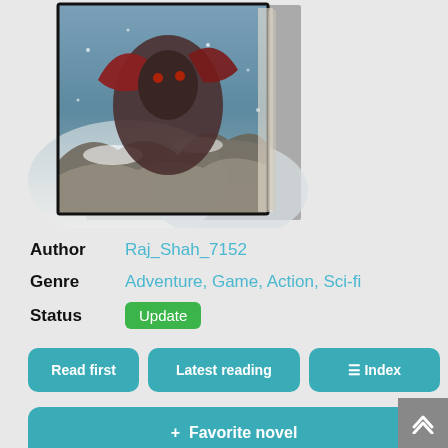[Figure (illustration): Book cover image showing a fantasy/action scene with a character in snowy mountain environment, red and dark colors, viewed from above. The cover has a black border/frame.]
Author   Raj_Shah_7152
Genre   Adventure, Game, Action, Sci-fi
Status   Update
Read first
Latest reading
≡ Index
+ Favorite novel
In 2100 at the turn of the century the first full dive VMMORPG game 'Omega' was released